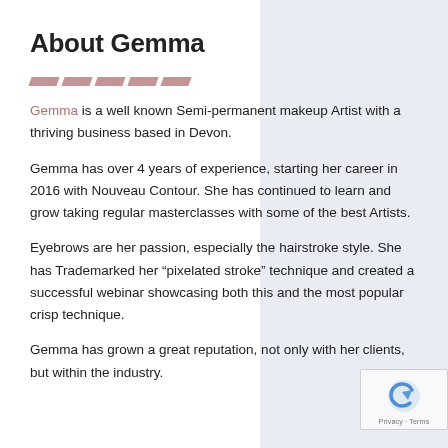About Gemma
[Figure (illustration): Decorative dashes/chevron marks in muted rose/mauve color]
Gemma is a well known Semi-permanent makeup Artist with a thriving business based in Devon.
Gemma has over 4 years of experience, starting her career in 2016 with Nouveau Contour. She has continued to learn and grow taking regular masterclasses with some of the best Artists.
Eyebrows are her passion, especially the hairstroke style. She has Trademarked her “pixelated stroke” technique and created a successful webinar showcasing both this and the most popular crisp technique.
Gemma has grown a great reputation, not only with her clients, but within the industry.